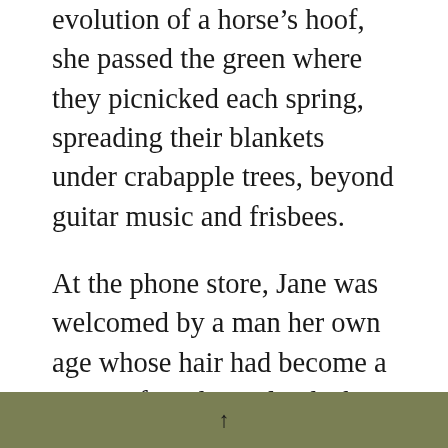evolution of a horse's hoof, she passed the green where they picnicked each spring, spreading their blankets under crabapple trees, beyond guitar music and frisbees.
At the phone store, Jane was welcomed by a man her own age whose hair had become a series of eroding islands; he wore a necklace with a cross and a gold watch.
“Looking to upgrade?” he asked Jane, gesturing to the chair in front of his
↑